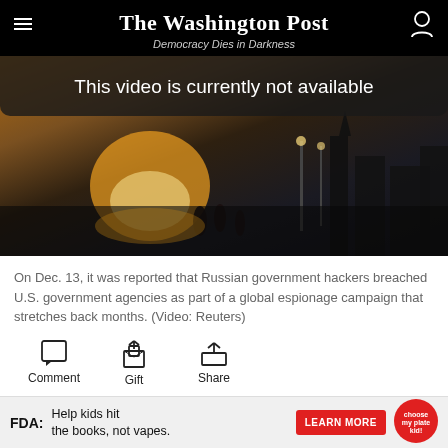The Washington Post
Democracy Dies in Darkness
[Figure (screenshot): Video player showing a city scene at sunset/dusk with silhouetted figures. Overlay reads: This video is currently not available.]
On Dec. 13, it was reported that Russian government hackers breached U.S. government agencies as part of a global espionage campaign that stretches back months. (Video: Reuters)
Comment  Gift  Share
Russian government hackers breached the Treasury and Commerce departments, along with other U.S.